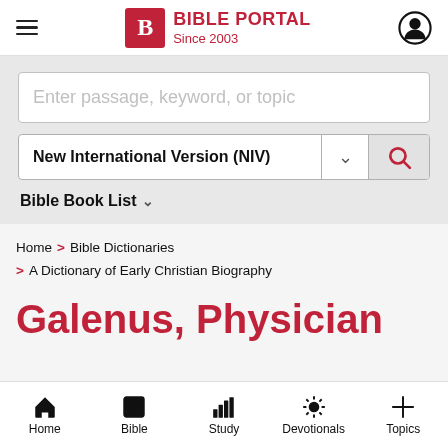BIBLE PORTAL Since 2003
[Figure (screenshot): Bible Portal search widget with text input, version selector (New International Version (NIV)), and Bible Book List dropdown]
Home > Bible Dictionaries > A Dictionary of Early Christian Biography
Galenus, Physician
Home | Bible | Study | Devotionals | Topics